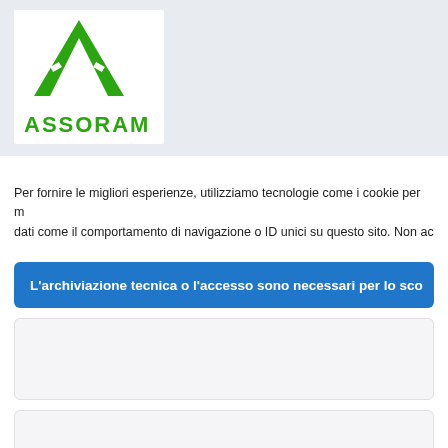[Figure (logo): ASSORAM logo with green A symbol and green text ASSORAM]
Per fornire le migliori esperienze, utilizziamo tecnologie come i cookie per m dati come il comportamento di navigazione o ID unici su questo sito. Non ac
L'archiviazione tecnica o l'accesso sono necessari per lo sco